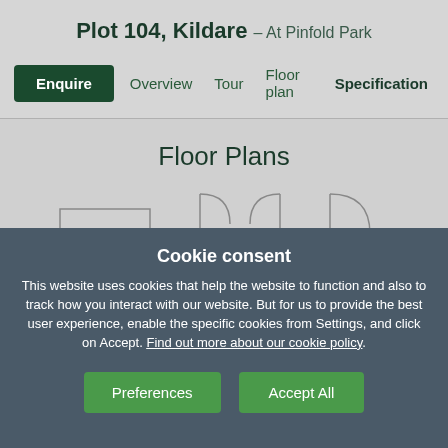Plot 104, Kildare – At Pinfold Park
Enquire   Overview   Tour   Floor plan   Specification
Floor Plans
[Figure (schematic): Partial floor plan diagram showing architectural top-down view with door arcs and room outlines, mostly obscured by cookie consent overlay]
Cookie consent
This website uses cookies that help the website to function and also to track how you interact with our website. But for us to provide the best user experience, enable the specific cookies from Settings, and click on Accept. Find out more about our cookie policy.
Preferences   Accept All